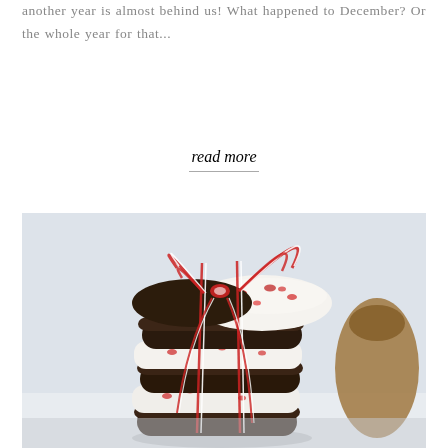another year is almost behind us! What happened to December? Or the whole year for that...
read more
[Figure (photo): Stack of chocolate sandwich cookies with white peppermint cream filling, tied with red and white striped baker's twine bow, with a pine cone in the background]